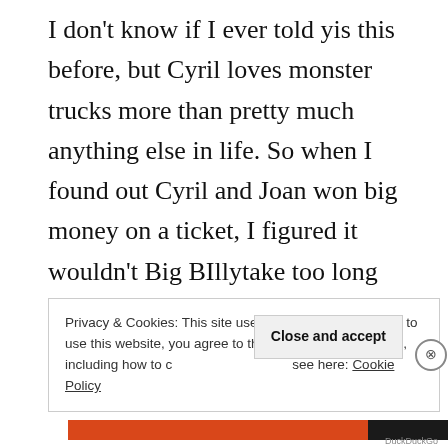I don't know if I ever told yis this before, but Cyril loves monster trucks more than pretty much anything else in life. So when I found out Cyril and Joan won big money on a ticket, I figured it wouldn't Big BIllytake too long before Cyril tried to put some giant tires on his F150 …
Privacy & Cookies: This site uses cookies. By continuing to use this website, you agree to their use. To find out more, including how to c see here: Cookie Policy